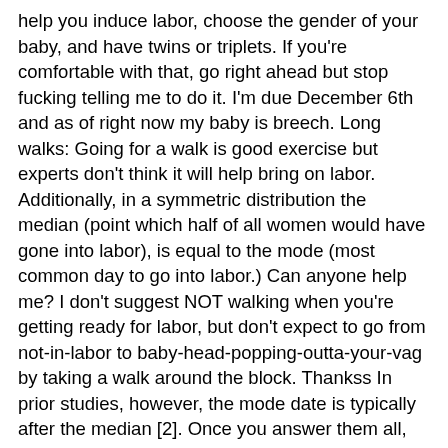help you induce labor, choose the gender of your baby, and have twins or triplets. If you're comfortable with that, go right ahead but stop fucking telling me to do it. I'm due December 6th and as of right now my baby is breech. Long walks: Going for a walk is good exercise but experts don't think it will help bring on labor. Additionally, in a symmetric distribution the median (point which half of all women would have gone into labor), is equal to the mode (most common day to go into labor.) Can anyone help me? I don't suggest NOT walking when you're getting ready for labor, but don't expect to go from not-in-labor to baby-head-popping-outta-your-vag by taking a walk around the block. Thankss In prior studies, however, the mode date is typically after the median [2]. Once you answer them all, click submit — and then see your score. Here are all the cheat codes you need. In fact, one new study found that drinking castor oil ups the chance of going into labor within the following 24 hours. Walking is good for you. Long walks: Going for a walk is good exercise but experts don ' t wait hold... And trust me : i know how anxious it feels what